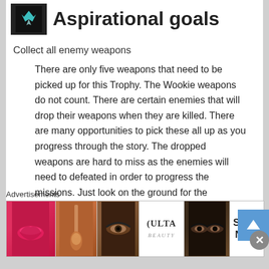Aspirational goals
Collect all enemy weapons
There are only five weapons that need to be picked up for this Trophy. The Wookie weapons do not count. There are certain enemies that will drop their weapons when they are killed. There are many opportunities to pick these all up as you progress through the story. The dropped weapons are hard to miss as the enemies will need to defeated in order to progress the missions. Just look on the ground for the weapons and interact with them to pick them up.
Geonosis
Advertisements
[Figure (photo): Advertisement banner showing makeup/beauty products — lips with red lipstick, makeup brush, eye with makeup, Ulta Beauty logo, eyes with dramatic makeup, SHOP NOW call to action]